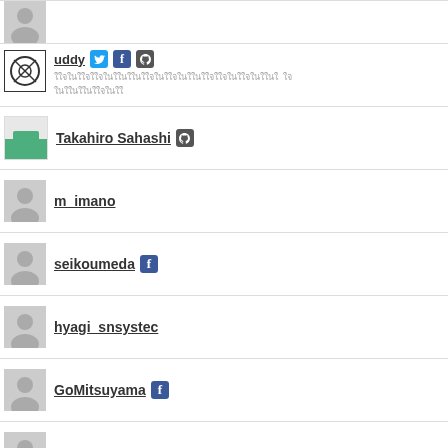(partial user avatar, top)
uddy [Twitter, Facebook, GitHub] — Japanese bio text
Takahiro Sahashi [GitHub]
m_imano
seikoumeda [Facebook]
hyagi_snsystec
GoMitsuyama [Facebook]
route55
KouheiKanao [Facebook] (partial)